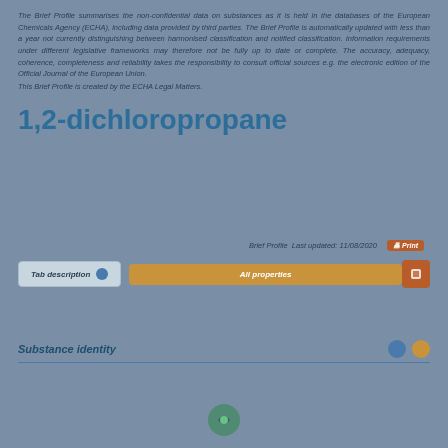The Brief Profile summarises the non-confidential data on substances as it is held in the databases of the European Chemicals Agency (ECHA), including data provided by third parties. The Brief Profile is automatically updated with less than a year not currency distinguishing between harmonised classification and notified classification. Information requirements under different legislative frameworks may therefore not be fully up to date or complete. The accuracy, adequacy, coherence, completeness and reliability takes the responsibility to consult official sources e.g. the electronic edition of the Official Journal of the European Union. This Brief Profile is created by the ECHA Legal Matters.
1,2-dichloropropane
Brief Profile  Last updated: 11/08/2020  Print
Tab description  All properties
Substance identity